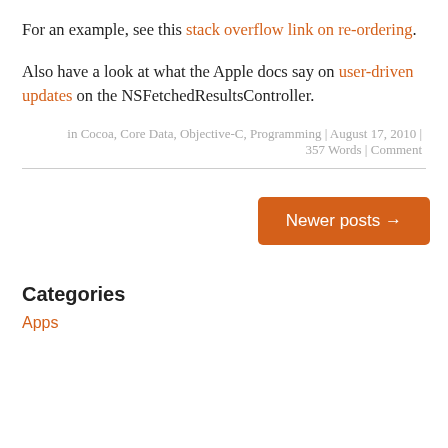For an example, see this stack overflow link on re-ordering.
Also have a look at what the Apple docs say on user-driven updates on the NSFetchedResultsController.
in Cocoa, Core Data, Objective-C, Programming | August 17, 2010 | 357 Words | Comment
Newer posts →
Categories
Apps